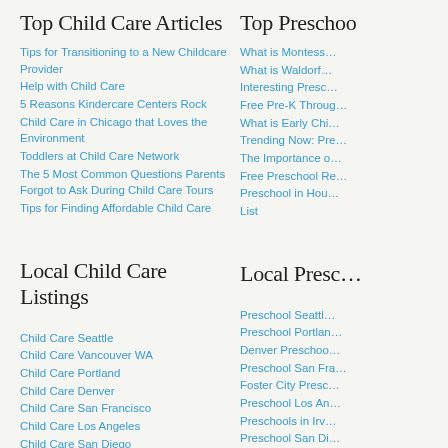Top Child Care Articles
Tips for Transitioning to a New Childcare Provider
Help with Child Care
5 Reasons Kindercare Centers Rock
Child Care in Chicago that Loves the Environment
Toddlers at Child Care Network
The 5 Most Common Questions Parents Forgot to Ask During Child Care Tours
Tips for Finding Affordable Child Care
Local Child Care Listings
Child Care Seattle
Child Care Vancouver WA
Child Care Portland
Child Care Denver
Child Care San Francisco
Child Care Los Angeles
Child Care San Diego
Phoenix Child Care
Child Care Houston
Child Care Arlington TX
Child Care Rochester MN
Child Care Chicago
Top Preschoo…
What is Montess…
What is Waldorf…
Interesting Presc…
Free Pre-K Throug…
What is Early Chi…
Trending Now: Pre…
The Importance o…
Free Preschool Re…
Preschool in Hou… List
Local Presc…
Preschool Seattl…
Preschool Portlan…
Denver Preschoo…
Preschool San Fra…
Foster City Presc…
Preschool Los An…
Preschools in Irv…
Preschool San Di…
Phoenix Preschoo…
Preschools in…